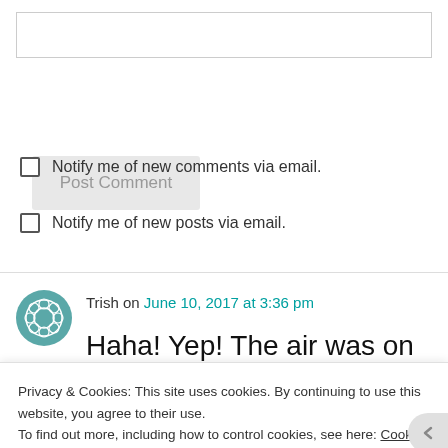[Figure (other): Text input field (comment box)]
Post Comment
Notify me of new comments via email.
Notify me of new posts via email.
Trish on June 10, 2017 at 3:36 pm
Haha! Yep! The air was on in the house and she was begging to go lay on the enclosed porch, where it was hot and
Privacy & Cookies: This site uses cookies. By continuing to use this website, you agree to their use.
To find out more, including how to control cookies, see here: Cookie Policy
Close and accept